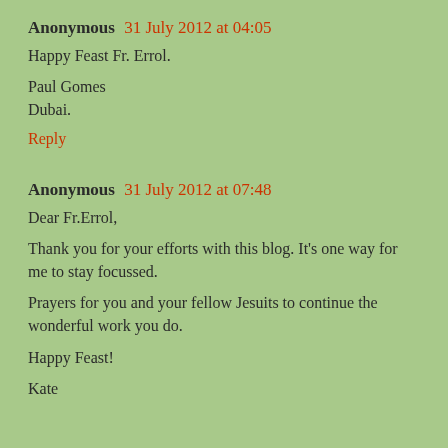Anonymous 31 July 2012 at 04:05
Happy Feast Fr. Errol.

Paul Gomes
Dubai.
Reply
Anonymous 31 July 2012 at 07:48
Dear Fr.Errol,

Thank you for your efforts with this blog. It's one way for me to stay focussed.

Prayers for you and your fellow Jesuits to continue the wonderful work you do.

Happy Feast!

Kate